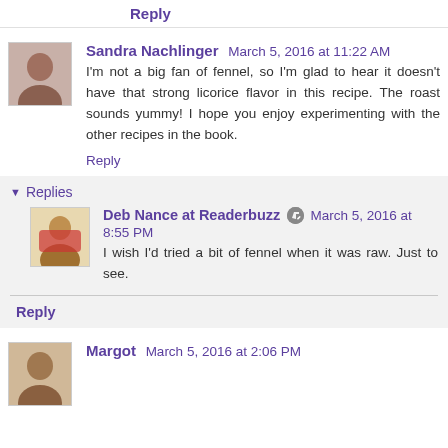Reply
Sandra Nachlinger  March 5, 2016 at 11:22 AM
I'm not a big fan of fennel, so I'm glad to hear it doesn't have that strong licorice flavor in this recipe. The roast sounds yummy! I hope you enjoy experimenting with the other recipes in the book.
Reply
▾ Replies
Deb Nance at Readerbuzz  March 5, 2016 at 8:55 PM
I wish I'd tried a bit of fennel when it was raw. Just to see.
Reply
Margot  March 5, 2016 at 2:06 PM